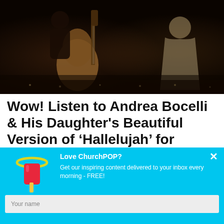[Figure (photo): Two people playing guitar on a dark stage, a performer with acoustic guitar visible on the left, another figure in light-colored clothing on the right, warm stage lighting]
Wow! Listen to Andrea Bocelli & His Daughter's Beautiful Version of 'Hallelujah' for Christmas
[Figure (infographic): ChurchPOP email signup modal overlay with cyan/blue background, popsicle mascot logo on left, headline 'Love ChurchPOP?', subtext 'Get our inspiring content delivered to your inbox every morning - FREE!', name field, email field, and yellow Sign me up! button. Close X button in top right.]